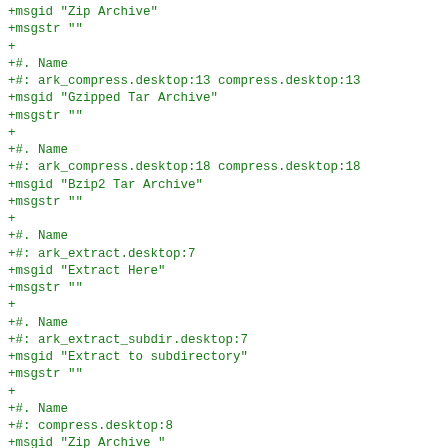+msgid "Zip Archive"
+msgstr ""
+
+#. Name
+#: ark_compress.desktop:13 compress.desktop:13
+msgid "Gzipped Tar Archive"
+msgstr ""
+
+#. Name
+#: ark_compress.desktop:18 compress.desktop:18
+msgid "Bzip2 Tar Archive"
+msgstr ""
+
+#. Name
+#: ark_extract.desktop:7
+msgid "Extract Here"
+msgstr ""
+
+#. Name
+#: ark_extract_subdir.desktop:7
+msgid "Extract to subdirectory"
+msgstr ""
+
+#. Name
+#: compress.desktop:8
+msgid "Zip Archive "
+msgstr ""
+
+#. Name
+#: d3lphin_su.desktop:7
+msgid "Extract Here"